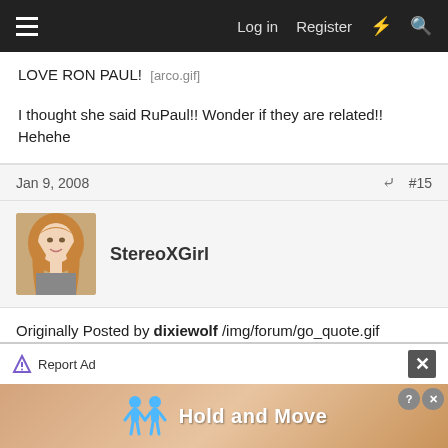Log in  Register
LOVE RON PAUL! [arco.gif]
I thought she said RuPaul!! Wonder if they are related!! Hehehe
Jan 9, 2008  #15
StereoXGirl
Originally Posted by dixiewolf /img/forum/go_quote.gif lmao! I like Ron Paul Was it Ron Paul who thinks that 9-11 was an inside job? Or was that just a rumor? ETA: Nevermind. I looked it up. lol. He just has support from a lot of 9-11 "truthers" :)
Report Ad
[Figure (screenshot): Ad banner showing 'Hold and Move' with animated figures]